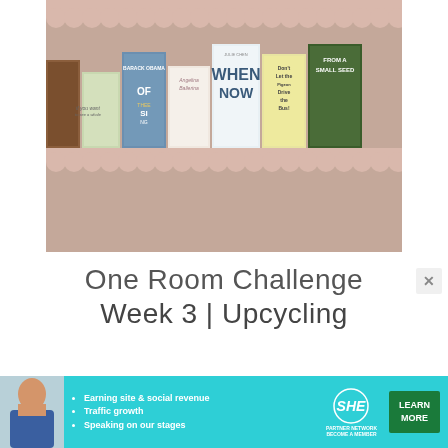[Figure (photo): A scalloped wooden bookshelf mounted on a pink/mauve wall, displaying several children's and adult books including 'Barack Obama', 'If You Want to See a Whale', 'Angelina Ballerina', 'Julie Chen When', 'Don't Let the Pigeon Drive the Bus', and 'From a Small Seed']
One Room Challenge Week 3 | Upcycling
[Figure (infographic): SHE Partner Network advertisement banner with text: Earning site & social revenue, Traffic growth, Speaking on our stages, LEARN MORE button]